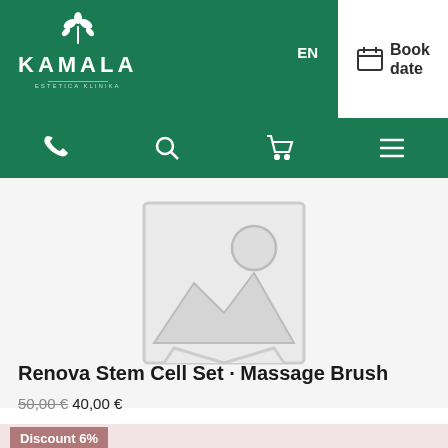[Figure (logo): Kamala Estetica Klinika logo with white leaf/flower icon and text on green background]
EN
Book date
[Figure (illustration): Navigation bar with phone, search, cart, and hamburger menu icons on green background]
[Figure (photo): Product image placeholder - gray outlined image icon with mountain and sun silhouette]
Renova Stem Cell Set · Massage Brush
50,00 € 40,00 €
Discount 6%